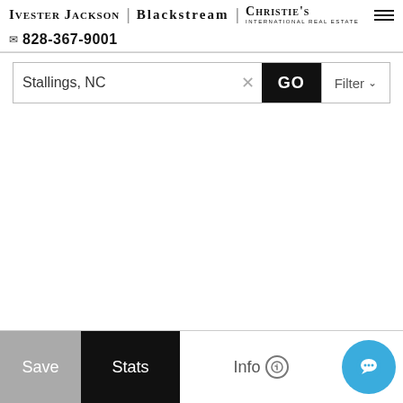IVESTER JACKSON | BLACKSTREAM | CHRISTIE'S INTERNATIONAL REAL ESTATE
✉ 828-367-9001
Stallings, NC
Save | Stats | Info